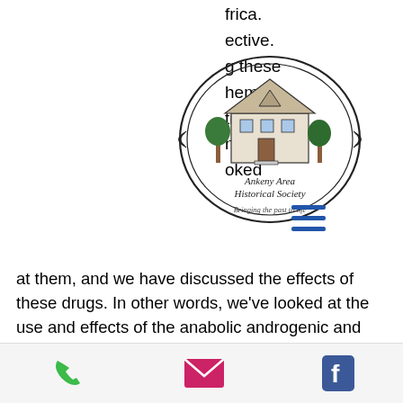[Figure (logo): Ankeny Area Historical Society circular logo with a building illustration and text 'Ankeny Area Historical Society - Bringing the past to life']
frica.
ective.
g these
hem.
tive
nic
oked
at them, and we have discussed the effects of these drugs. In other words, we've looked at the use and effects of the anabolic androgenic and we have said that they are steroids which are considered very successful in helping people to maintain or gain muscle mass.

So, what is anabolic steroids used for? Well, one of the main reasons behind using steroids is to create a natural lean body, crazybulk dbal. In order for you to build muscle, you must have a healthy lifestyle
Phone | Email | Facebook